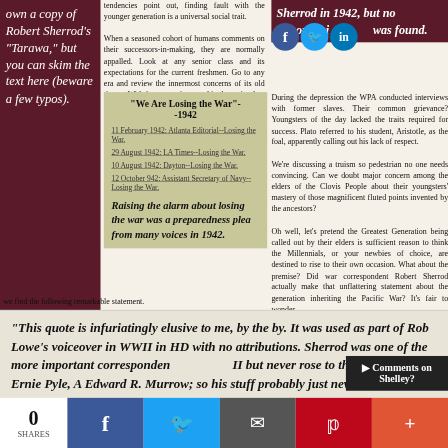own a copy of Robert Sherrod's "Tarawa," but you can skim the text here (beware a few typos).
tendencies point out, finding fault with the younger generation is a universal social trait.

When a seasoned cohort of humans comments on their successors-in-making, they are normally appalled. Look at any senior class and its expectations for the current freshmen. Go to any era and review the innermost concerns of its old timers. With few exceptions, and in the main, they will lament the frivolity, unreadiness, unsteadiness, and general unsuitability burdening the young.

Robert Lewis Gipson billed himself as the oldest man in the United States in 1884. He probably wasn't, but he was pretty old, over 100 years old, certainly, and what was his main concern? Youngsters lacked fortitude and wisdom.
Sherrod in 1942, but no discouraging word was found.
[Figure (infographic): Social media share icons: Facebook, Twitter, LinkedIn]
During the depression the WPA conducted interviews with former slaves. Their common grievance? Youngsters of the day lacked the traits required for success. Plato referred to his student, Aristotle, as the foal, apparently calling out his lack of respect.

We're discussing a truism so pedestrian no one needs convincing. Can we doubt major concern among the elders of the Clovis People about their youngsters' mastery of those magnificent fluted points invented by the ancestors?

Oh well, let's pretend the Greatest Generation being called out by their elders is sufficient reason to think the Millennials, or your newbies of choice, are destined to rise to their own occasion. What about the premise? Did war correspondent Robert Sherrod actually make that unflattering statement about the generation inheriting the Pacific War? It's fair to wonder.

None of the meme-centric repetitions of Sherrod's alleged statement is graced with a citation. One writer footnotes his soliloquy on the misunderstood Millennials, but when we jump to his source for the Sherrod quote
"We Are Losing the War"- -1942
11 February 1942: Atlanta Editorial--Losing the War.
29 August 1942: LA Times--Losing the War.
10 August 1942: Dayton--Losing the War.
12 October 942: Assistant Secretary of Navy--Losing the War.
Raising the alarm about losing the war was a preparedness plea from many voices in 1942.
we find the following remarkable statement.
"This quote is infuriatingly elusive to me, by the by. It was used as part of Rob Lowe's voiceover in WWII in HD with no attributions. Sherrod was one of the more important correspondents of WWII but never rose to the level of an Ernie Pyle, A Edward R. Murrow; so his stuff probably just never s
[Figure (infographic): Comments on Shelley overlay button]
0 SHARES